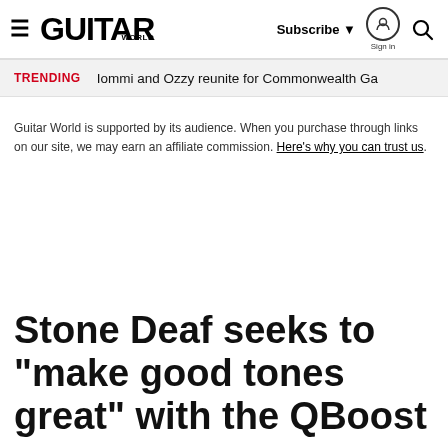Guitar World — Subscribe | Sign in | Search
TRENDING  Iommi and Ozzy reunite for Commonwealth Ga
Guitar World is supported by its audience. When you purchase through links on our site, we may earn an affiliate commission. Here's why you can trust us.
Stone Deaf seeks to "make good tones great" with the QBoost